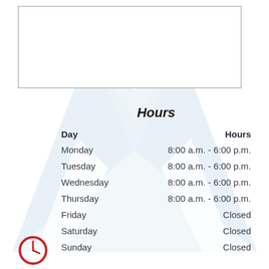[Figure (illustration): Light blue stylized M logo watermark in background covering the full page]
[Figure (other): Empty white rectangle with thin border at top of page]
Hours
| Day | Hours |
| --- | --- |
| Monday | 8:00 a.m. - 6:00 p.m. |
| Tuesday | 8:00 a.m. - 6:00 p.m. |
| Wednesday | 8:00 a.m. - 6:00 p.m. |
| Thursday | 8:00 a.m. - 6:00 p.m. |
| Friday | Closed |
| Saturday | Closed |
| Sunday | Closed |
[Figure (illustration): Red circular clock icon at bottom left]